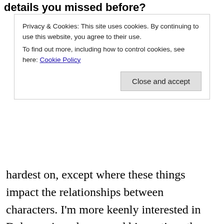details you missed before?
Privacy & Cookies: This site uses cookies. By continuing to use this website, you agree to their use.
To find out more, including how to control cookies, see here: Cookie Policy
hardest on, except where these things impact the relationships between characters. I'm more keenly interested in Delaunay's endgame and his motives than in the political power struggles of the wider world, at this stage, because there is clearly some personal motivation behind what Delaunay does – not to mention two of this story's foremost characters at this point are closely involved with him. So I had a little trouble, not necessarily keeping track of what was happening but with finding as much interest in it? I get that what happens here is important, and I know